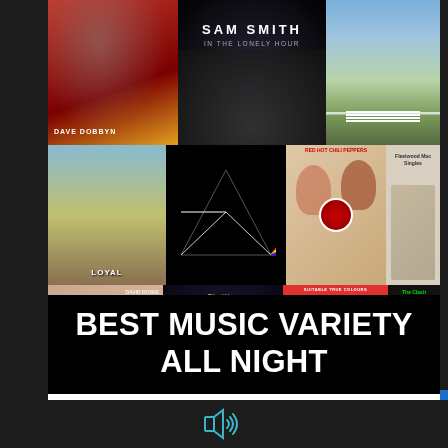[Figure (illustration): Collage of music album covers including Dave Dobbyn Loyal, Sam Smith In The Lonely Hour, The Beatles Abbey Road, Pink Floyd Dark Side of the Moon, Red Hot Chili Peppers Blood Sugar Sex Magik, Fleetwood Mac Singles, David Bowie Aladdin Sane, Michael Jackson Thriller, True Colours compilation, The Clash London Calling]
BEST MUSIC VARIETY ALL NIGHT
YOU CAN'T STOP THE MUSIC!